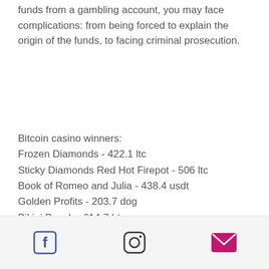funds from a gambling account, you may face complications: from being forced to explain the origin of the funds, to facing criminal prosecution.
Bitcoin casino winners:
Frozen Diamonds - 422.1 ltc
Sticky Diamonds Red Hot Firepot - 506 ltc
Book of Romeo and Julia - 438.4 usdt
Golden Profits - 203.7 dog
Bikini Beach - 614.7 btc
Glorious Rome - 378.6 ltc
Dazzle Me - 498.4 usdt
Arrival - 357.7 usdt
Fruity Mania - 470.4 ltc
A Christmas Carol - 528.5 bch
Maaax Diamonds - 24.4 ltc
Diamond Cats - 740.7 eth
3 Butterflies - 135.9 dog
Facebook | Instagram | Email